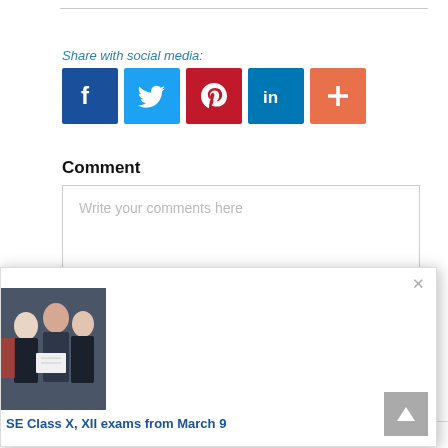Share with social media:
[Figure (infographic): Social media share buttons: Facebook (dark blue), Twitter (light blue), Pinterest (red), LinkedIn (blue), More/Plus (orange-red)]
Comment
Write your comments here
[Figure (photo): Popup panel showing students in school uniforms reading papers, with title 'SE Class X, XII exams from March 9']
SE Class X, XII exams from March 9